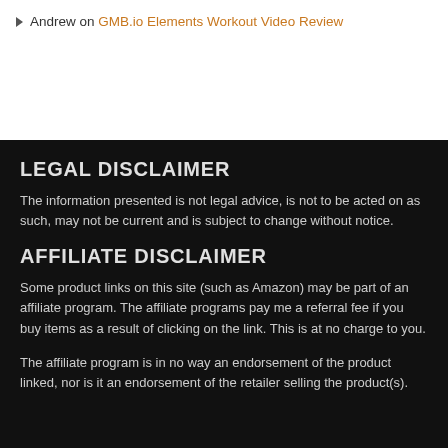Andrew on GMB.io Elements Workout Video Review
LEGAL DISCLAIMER
The information presented is not legal advice, is not to be acted on as such, may not be current and is subject to change without notice.
AFFILIATE DISCLAIMER
Some product links on this site (such as Amazon) may be part of an affiliate program. The affiliate programs pay me a referral fee if you buy items as a result of clicking on the link. This is at no charge to you.
The affiliate program is in no way an endorsement of the product linked, nor is it an endorsement of the retailer selling the product(s).